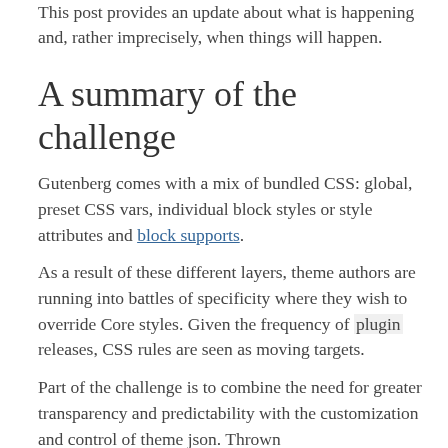This post provides an update about what is happening and, rather imprecisely, when things will happen.
A summary of the challenge
Gutenberg comes with a mix of bundled CSS: global, preset CSS vars, individual block styles or style attributes and block supports.
As a result of these different layers, theme authors are running into battles of specificity where they wish to override Core styles. Given the frequency of plugin releases, CSS rules are seen as moving targets.
Part of the challenge is to combine the need for greater transparency and predictability with the customization and control of theme json. Thrown